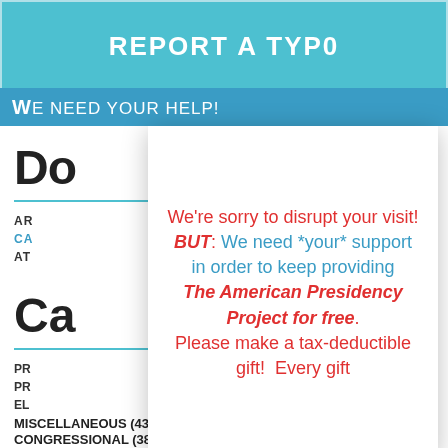REPORT A TYPO
WE NEED YOUR HELP!
Do
AR
CA
AT
Ca
PR
PR
EL
MISCELLANEOUS (430)
CONGRESSIONAL (38)
We're sorry to disrupt your visit! BUT: We need *your* support in order to keep providing The American Presidency Project for free. Please make a tax-deductible gift! Every gift